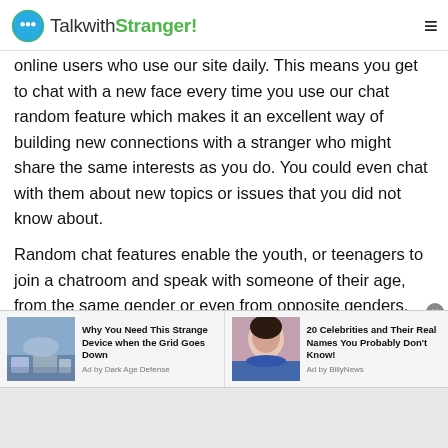TalkwithStranger!
online users who use our site daily. This means you get to chat with a new face every time you use our chat random feature which makes it an excellent way of building new connections with a stranger who might share the same interests as you do. You could even chat with them about new topics or issues that you did not know about.
Random chat features enable the youth, or teenagers to join a chatroom and speak with someone of their age, from the same gender or even from opposite genders. Since our site has more than 12000 users daily, you can chat with a diverse range of people.
[Figure (infographic): Ad banner with two sponsored articles: 'Why You Need This Strange Device when the Grid Goes Down' (Ad by Dark Age Defense) with a flooded street photo, and '20 Celebrities and Their Real Names You Probably Don't Know!' (Ad by BillyNews) with a photo of Oprah Winfrey.]